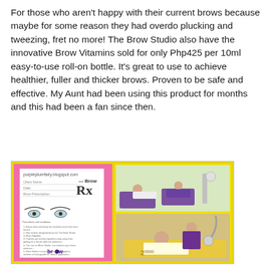For those who aren't happy with their current brows because maybe for some reason they had overdo plucking and tweezing, fret no more! The Brow Studio also have the innovative Brow Vitamins sold for only Php425 per 10ml easy-to-use roll-on bottle. It's great to use to achieve healthier, fuller and thicker brows. Proven to be safe and effective. My Aunt had been using this product for months and this had been a fan since then.
[Figure (photo): Collage of three images: left panel shows a pink background with a Brow Rx prescription card and the blog URL purpleplumfairy.blogspot.com; top right shows a salon interior with clients receiving brow treatments; bottom right shows a beauty technician in purple uniform performing a brow treatment on a client lying down.]